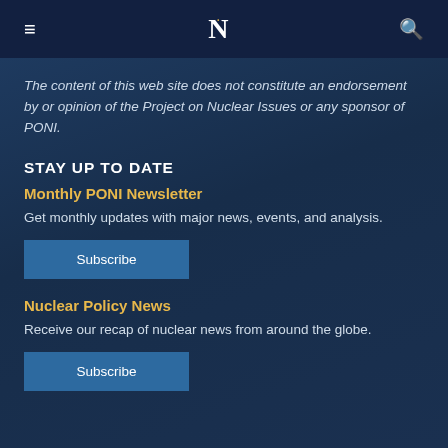≡  N  🔍
The content of this web site does not constitute an endorsement by or opinion of the Project on Nuclear Issues or any sponsor of PONI.
STAY UP TO DATE
Monthly PONI Newsletter
Get monthly updates with major news, events, and analysis.
Subscribe
Nuclear Policy News
Receive our recap of nuclear news from around the globe.
Subscribe